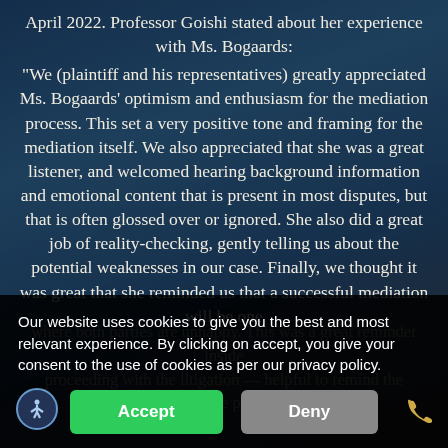April 2022. Professor Goishi stated about her experience with Ms. Bogaards: “We (plaintiff and his representatives) greatly appreciated Ms. Bogaards’ optimism and enthusiasm for the mediation process. This set a very positive tone and framing for the mediation itself. We also appreciated that she was a great listener, and welcomed hearing background information and emotional content that is present in most disputes, but that is often glossed over or ignored. She also did a great job of reality-checking, gently telling us about the potential weaknesses in our case. Finally, we thought it was great that she reminded us that a successful mediation will be one where both parties are unhappy. This was a great reminder inside proceeding with the litigation — helpful to remind the parties before proceeding.
Our website uses cookies to give you the best and most relevant experience. By clicking on accept, you give your consent to the use of cookies as per our privacy policy.